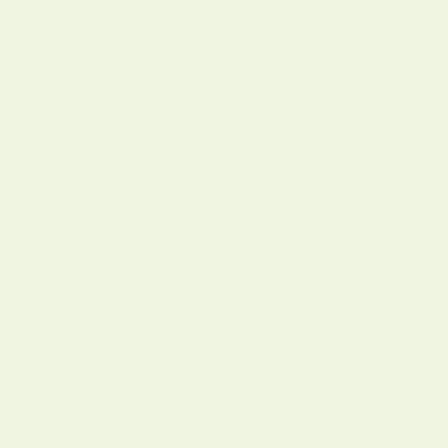par rise to the leve of a ma of prin tha mu be def and not just be and me pol cal I'm sor so ma De col equ and get out the "tri